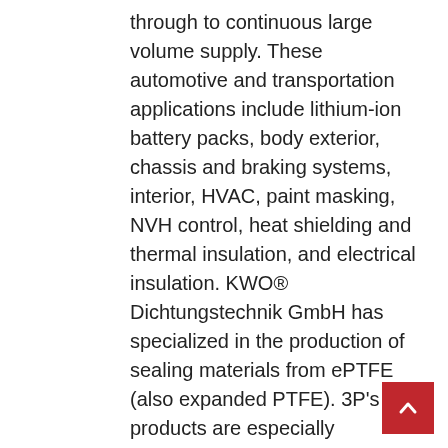through to continuous large volume supply. These automotive and transportation applications include lithium-ion battery packs, body exterior, chassis and braking systems, interior, HVAC, paint masking, NVH control, heat shielding and thermal insulation, and electrical insulation. KWO® Dichtungstechnik GmbH has specialized in the production of sealing materials from ePTFE (also expanded PTFE). 3P's products are especially assessed in pumps and valves for the petrochemical industry. Poreflon Membrane is made from PTFE, characterized by superb heat resistance and chemical resistance. On the other hand, North America and Europe, being one of the mature industries for electronics, led to continuous